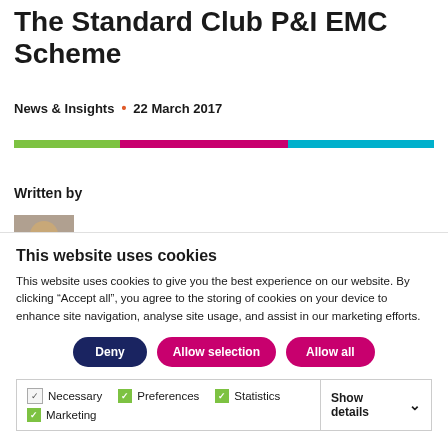The Standard Club P&I EMC Scheme
News & Insights • 22 March 2017
[Figure (other): Horizontal colour bar with three segments: green, pink/magenta, and cyan/blue]
Written by
[Figure (photo): Partial author headshot photo]
This website uses cookies
This website uses cookies to give you the best experience on our website. By clicking “Accept all”, you agree to the storing of cookies on your device to enhance site navigation, analyse site usage, and assist in our marketing efforts.
Deny | Allow selection | Allow all
| Necessary | Preferences | Statistics | Show details |
| --- | --- | --- | --- |
| Marketing |  |  |  |